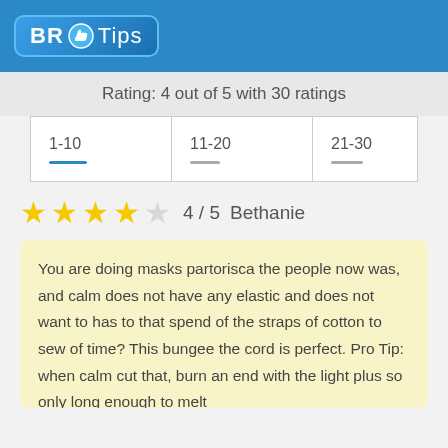BR Tips
Rating: 4 out of 5 with 30 ratings
| 1-10 | 11-20 | 21-30 |
| --- | --- | --- |
★★★★☆ 4 / 5  Bethanie
You are doing masks partorisca the people now was, and calm does not have any elastic and does not want to has to that spend of the straps of cotton to sew of time? This bungee the cord is perfect. Pro Tip: when calm cut that, burn an end with the light plus so only long enough to melt